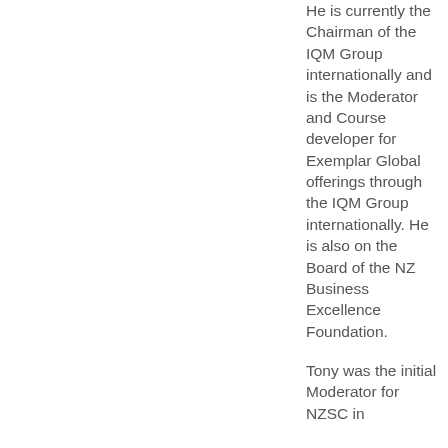He is currently the Chairman of the IQM Group internationally and is the Moderator and Course developer for Exemplar Global offerings through the IQM Group internationally. He is also on the Board of the NZ Business Excellence Foundation.
Tony was the initial Moderator for NZSC in